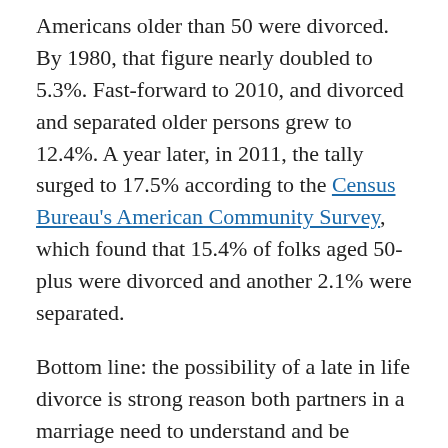Americans older than 50 were divorced. By 1980, that figure nearly doubled to 5.3%. Fast-forward to 2010, and divorced and separated older persons grew to 12.4%. A year later, in 2011, the tally surged to 17.5% according to the Census Bureau's American Community Survey, which found that 15.4% of folks aged 50-plus were divorced and another 2.1% were separated.
Bottom line: the possibility of a late in life divorce is strong reason both partners in a marriage need to understand and be involved in family finances.
Solutions: Separation and divorce are already stressful enough. Don't make things worse by seeking financial revenge or making certain common financial mistakes during divorce.
Instead, each party should get educated about how Social Security works, Littell suggests. For a nonworking, low...